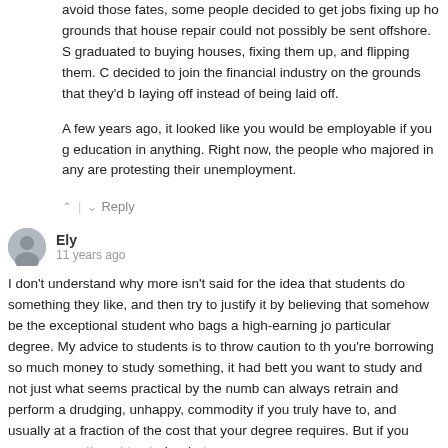avoid those fates, some people decided to get jobs fixing up ho grounds that house repair could not possibly be sent offshore. S graduated to buying houses, fixing them up, and flipping them. C decided to join the financial industry on the grounds that they'd b laying off instead of being laid off.
A few years ago, it looked like you would be employable if you g education in anything. Right now, the people who majored in any are protesting their unemployment.
^ | v Reply
Ely
11 years ago
I don't understand why more isn't said for the idea that students do something they like, and then try to justify it by believing that somehow be the exceptional student who bags a high-earning jo particular degree. My advice to students is to throw caution to th you're borrowing so much money to study something, it had bett you want to study and not just what seems practical by the numb can always retrain and perform a drudging, unhappy, commodity if you truly have to, and usually at a fraction of the cost that your degree requires. But if you never even attempt to study what yo